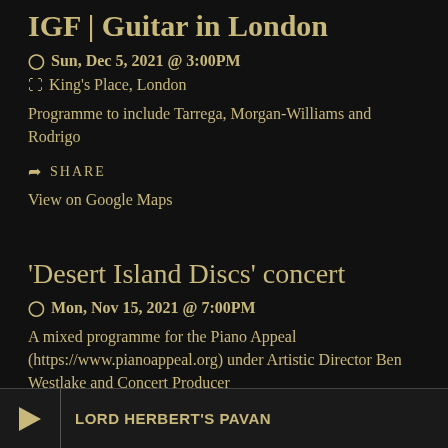IGF | Guitar in London
Sun, Dec 5, 2021 @ 3:00PM
King's Place, London
Programme to include Tarrega, Morgan-Williams and Rodrigo
SHARE
View on Google Maps
'Desert Island Discs' concert
Mon, Nov 15, 2021 @ 7:00PM
A mixed programme for the Piano Appeal (https://www.pianoappeal.org) under Artistic Director Ben Westlake and Concert Producer ... Vivaldi Chamber Concerto and Concerto for two Mandolins. Also
LORD HERBERT'S PAVAN